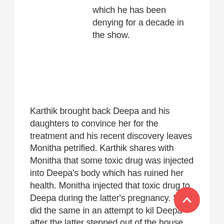which he has been denying for a decade in the show.
Karthik brought back Deepa and his daughters to convince her for the treatment and his recent discovery leaves Monitha petrified. Karthik shares with Monitha that some toxic drug was injected into Deepa's body which has ruined her health. Monitha injected that toxic drug to Deepa during the latter's pregnancy. She did the same in an attempt to kil Deepa after the latter stepped out of the house. And